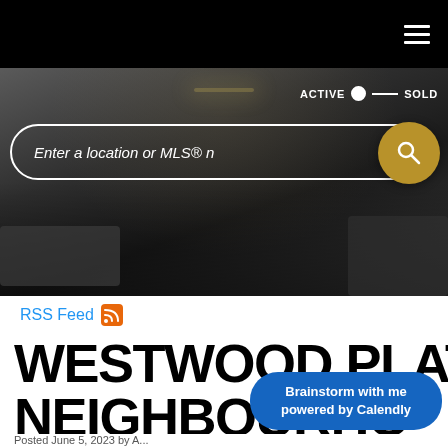Navigation bar with hamburger menu
[Figure (photo): Hero background photo of a dark modern interior room with pendant lighting and contemporary furniture, overlaid with a search interface including ACTIVE/SOLD toggle, search input field 'Enter a location or MLS® n', filter icon, and gold search button]
RSS Feed
WESTWOOD PLATEAU, COQU NEIGHBOURHOOD
Brainstorm with me powered by Calendly
Posted June 5, 2023 by ...